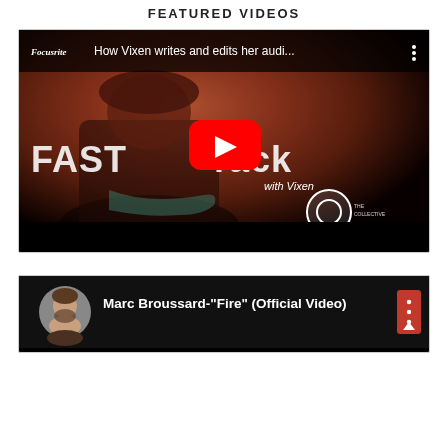FEATURED VIDEOS
[Figure (screenshot): YouTube video thumbnail for 'How Vixen writes and edits her audi...' showing a woman with a beret playing guitar, with 'FASTtrack with Vixen' overlay text, a YouTube play button, and The Collective logo. Part of the Focusrite channel.]
[Figure (screenshot): YouTube video thumbnail for Marc Broussard 'Fire' (Official Video) showing a circular avatar photo of a bearded man with a red menu/options button on the right.]